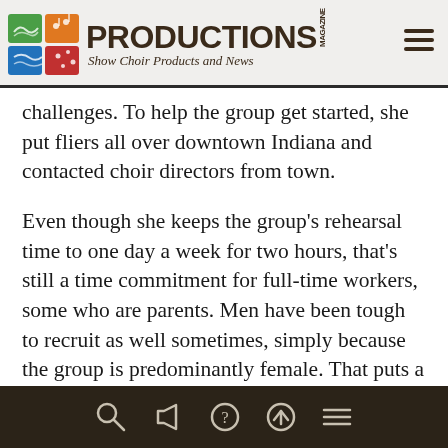PRODUCTIONS MAGAZINE — Show Choir Products and News
challenges. To help the group get started, she put fliers all over downtown Indiana and contacted choir directors from town.
Even though she keeps the group's rehearsal time to one day a week for two hours, that's still a time commitment for full-time workers, some who are parents. Men have been tough to recruit as well sometimes, simply because the group is predominantly female. That puts a lot of pressure on a male voice, and Heather admits that might make some men a little
Navigation toolbar with search, megaphone, help, upload, and menu icons